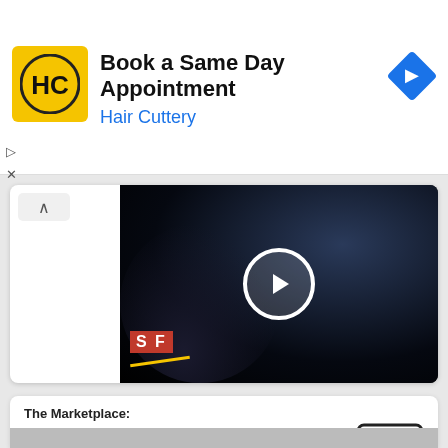[Figure (screenshot): Advertisement banner for Hair Cuttery with yellow HC logo, text 'Book a Same Day Appointment' and 'Hair Cuttery', blue navigation diamond icon, and ad controls (play and close icons)]
[Figure (screenshot): Video thumbnail with dark cinematic scene showing two people close together, white circular play button overlay, SF logo badge in red at bottom left, inside a white card with collapse arrow button]
The Marketplace:
Sell your Script!
Get listed in the most prominent screenplays collection on the web!
[Figure (other): Money/dollar bill icon in rounded rectangle]